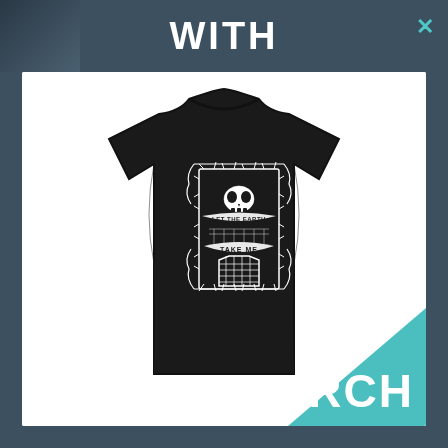[Figure (screenshot): Top navigation bar with 'WITH' text partially visible, dark blue-grey background, close button (x) in teal on right]
[Figure (photo): Black t-shirt with white gothic illustration featuring a skull, coffin, thorny vines and banners reading 'LET THE EARTH' and 'TAKE ME', displayed on white background product card]
MERCH